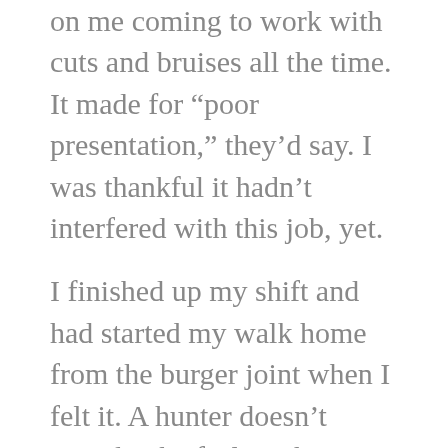on me coming to work with cuts and bruises all the time. It made for “poor presentation,” they’d say. I was thankful it hadn’t interfered with this job, yet.
I finished up my shift and had started my walk home from the burger joint when I felt it. A hunter doesn’t mistake the feeling that demons are around. It moves down your spine and chills your bones. Feeling it proved I was indeed a hunter, even without an element.
The August air was warm for the late hour, and a thick layer of sweat made my white shirt cling to me. I stopped and unzipped my duffle bag, locating the silver dagger inside. Silver was great no matter